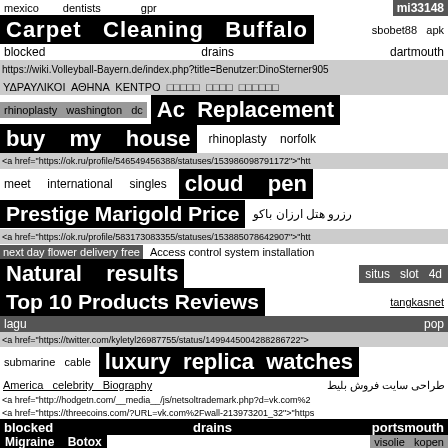mexico   dentists   gpr   mi33148
Carpet   Cleaning   Buffalo   sbobet88   apk
blocked   drains   dartmouth
https://wiki.Volleyball-Bayern.de/index.php?title=Benutzer:DinoSterner905
ΥΔΡΑΥΛΙΚΟΙ  ΑΘΗΝΑ  ΚΕΝΤΡΟ  □□□□□  □□□□  □□□□□□
rhinoplasty   washington   dc   Ac   Replacement
buy   my   house   rhinoplasty   norfolk
<a href="https://ok.ru/profile/546549456388/statuses/153986098791172">"htt
meet   international   singles   cloud   pen
Prestige  Marigold  Price  رزرو هتل ارزان باکو
<a href="https://ok.ru/profile/583173083355/statuses/153885078642907">"htt
next  day  flower  delivery  free   Access  control  system  installation
Natural   results   situs   slot   4d
Top  10  Products  Reviews   tangkasnet
lagu   pop
<a href="https://twitter.com/kyletyl26987755/status/1499445004288286722">
submarine   cable   luxury   replica   watches
America   celebrity   Biography   طراحی سایت فروش بلیط
<a href="http://hodgetn.com/__media__/js/netsoltrademark.php?d=vk.com%2
<a href="https://threecoins.com/?URL=vk.com%2Fwall-213973201_32">"https
blocked   drains   portsmouth
Migraine   Botox   visolie   kopen